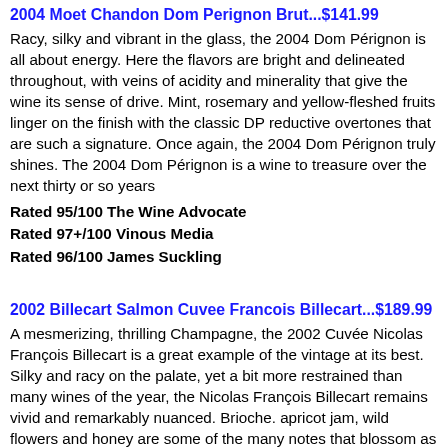2004 Moet Chandon Dom Perignon Brut...$141.99
Racy, silky and vibrant in the glass, the 2004 Dom Pérignon is all about energy. Here the flavors are bright and delineated throughout, with veins of acidity and minerality that give the wine its sense of drive. Mint, rosemary and yellow-fleshed fruits linger on the finish with the classic DP reductive overtones that are such a signature. Once again, the 2004 Dom Pérignon truly shines. The 2004 Dom Pérignon is a wine to treasure over the next thirty or so years
Rated 95/100 The Wine Advocate
Rated 97+/100 Vinous Media
Rated 96/100 James Suckling
2002 Billecart Salmon Cuvee Francois Billecart...$189.99
A mesmerizing, thrilling Champagne, the 2002 Cuvée Nicolas François Billecart is a great example of the vintage at its best. Silky and racy on the palate, yet a bit more restrained than many wines of the year, the Nicolas François Billecart remains vivid and remarkably nuanced. Brioche. apricot jam, wild flowers and honey are some of the many notes that blossom as the Cuvée Nicolas François Billecart